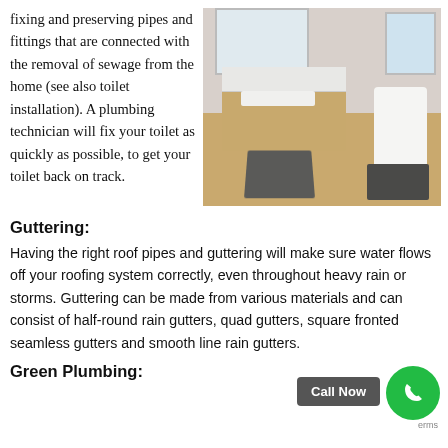fixing and preserving pipes and fittings that are connected with the removal of sewage from the home (see also toilet installation). A plumbing technician will fix your toilet as quickly as possible, to get your toilet back on track.
[Figure (photo): Photograph of a modern bathroom with a wooden floating vanity with white sink, toilet, hardwood floor, and grey bath mats]
Guttering:
Having the right roof pipes and guttering will make sure water flows off your roofing system correctly, even throughout heavy rain or storms. Guttering can be made from various materials and can consist of half-round rain gutters, quad gutters, square fronted seamless gutters and smooth line rain gutters.
Green Plumbing: